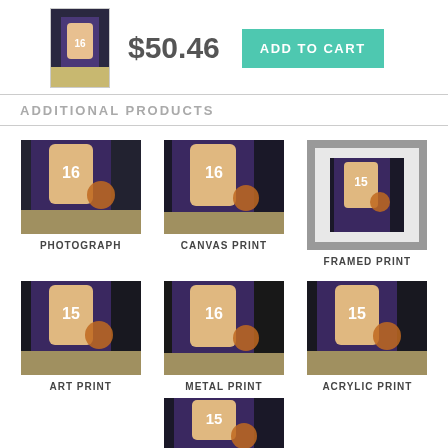[Figure (photo): Small thumbnail of basketball player in purple Phoenix Suns jersey #16 dribbling]
$50.46
ADD TO CART
ADDITIONAL PRODUCTS
[Figure (photo): Basketball player in purple Phoenix Suns jersey #16 dribbling - Photograph product]
PHOTOGRAPH
[Figure (photo): Basketball player in purple Phoenix Suns jersey #16 dribbling - Canvas Print product]
CANVAS PRINT
[Figure (photo): Basketball player in purple Phoenix Suns jersey #16 dribbling - Framed Print product with gray frame]
FRAMED PRINT
[Figure (photo): Basketball player in purple Phoenix Suns jersey #16 dribbling - Art Print product]
ART PRINT
[Figure (photo): Basketball player in purple Phoenix Suns jersey #16 dribbling - Metal Print product]
METAL PRINT
[Figure (photo): Basketball player in purple Phoenix Suns jersey #16 dribbling - Acrylic Print product]
ACRYLIC PRINT
[Figure (photo): Basketball player in purple Phoenix Suns jersey #15 - bottom partial product]